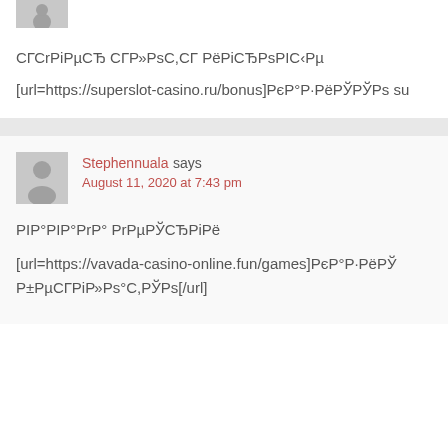[Figure (other): Partial avatar icon (top cropped) for first commenter]
СГСГРiРµСЂ СГР»РsС,СГ РёРiСЂРsРIС‹Рµ
[url=https://superslot-casino.ru/bonus]РєР°Р·РёРЎРРs sup
[Figure (other): Avatar icon for Stephennuala]
Stephennuala says
August 11, 2020 at 7:43 pm
РIР°РIР°РrР° РrРµРЎСЂРiРё
[url=https://vavada-casino-online.fun/games]РєР°Р·РёРЎ Р±РµСГРiР»Рs°С,РЎРs[/url]